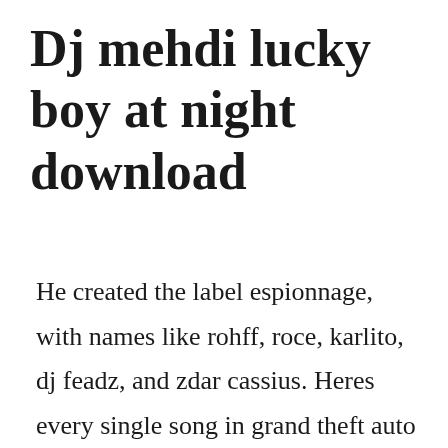Dj mehdi lucky boy at night download
He created the label espionnage, with names like rohff, roce, karlito, dj feadz, and zdar cassius. Heres every single song in grand theft auto v uproxx. Over one million legal mp3 tracks available at juno download. Listen free to dj mehdi lucky boy at night busy being born, i am somebody paris version and more.